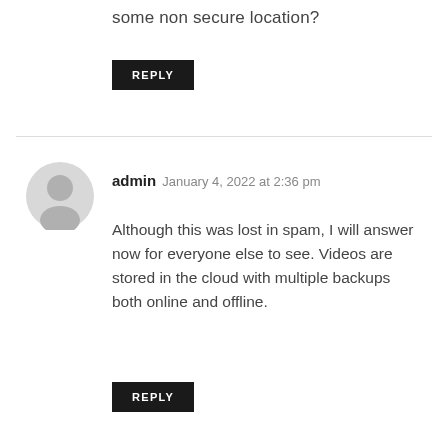some non secure location?
REPLY
admin  January 4, 2022 at 2:36 pm
Although this was lost in spam, I will answer now for everyone else to see. Videos are stored in the cloud with multiple backups both online and offline.
REPLY